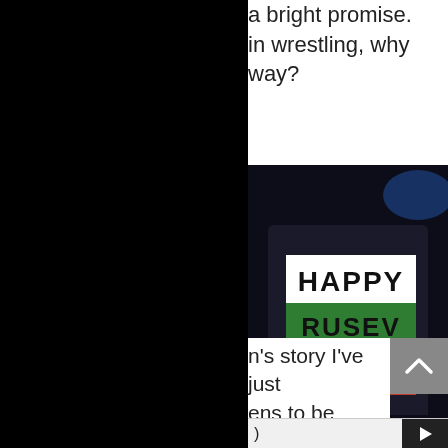a bright promise. in wrestling, why way?
[Figure (photo): A black t-shirt with a Bulgarian flag-colored rectangle displaying the text 'HAPPY RUSEV DAY' in bold black letters. The top stripe is white with 'HAPPY', the middle stripe is green with 'RUSEV', and the bottom stripe is red with 'DAY'.]
n's story I've just ens to be Rusev?
[Figure (other): Video player bar with play button]